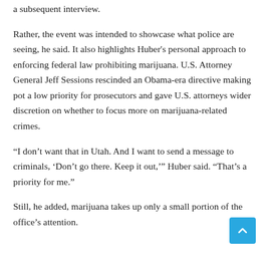a subsequent interview.
Rather, the event was intended to showcase what police are seeing, he said. It also highlights Huber's personal approach to enforcing federal law prohibiting marijuana. U.S. Attorney General Jeff Sessions rescinded an Obama-era directive making pot a low priority for prosecutors and gave U.S. attorneys wider discretion on whether to focus more on marijuana-related crimes.
“I don’t want that in Utah. And I want to send a message to criminals, ‘Don’t go there. Keep it out,’” Huber said. “That’s a priority for me.”
Still, he added, marijuana takes up only a small portion of the office’s attention.